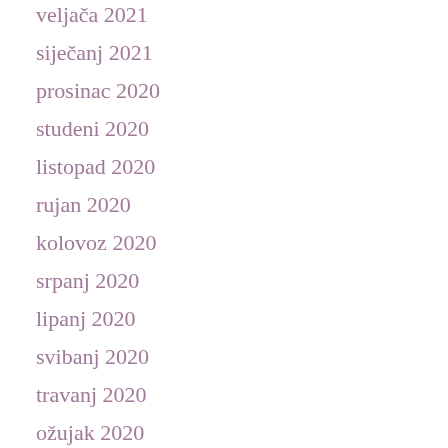veljača 2021
siječanj 2021
prosinac 2020
studeni 2020
listopad 2020
rujan 2020
kolovoz 2020
srpanj 2020
lipanj 2020
svibanj 2020
travanj 2020
ožujak 2020
veljača 2020
siječanj 2020